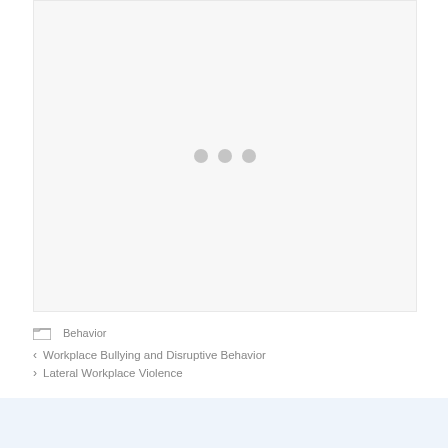[Figure (other): Loading placeholder area with three gray dots in the center, light gray background with border]
Behavior
< Workplace Bullying and Disruptive Behavior
> Lateral Workplace Violence